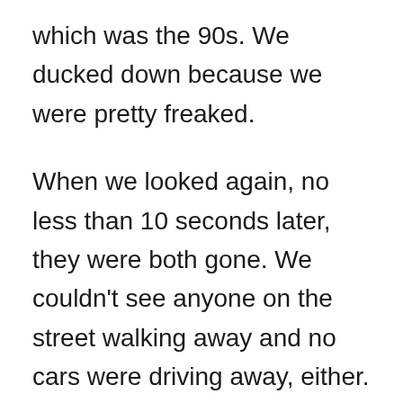which was the 90s. We ducked down because we were pretty freaked.
When we looked again, no less than 10 seconds later, they were both gone. We couldn't see anyone on the street walking away and no cars were driving away, either. The two of them just disappeared into thin air without a trace. My friend had never seen either of them in the neighborhood before. Let's just say, we did